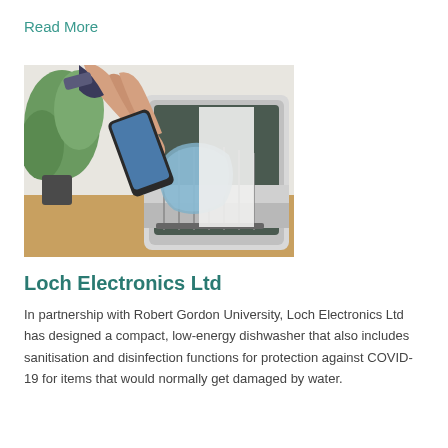Read More
[Figure (photo): A hand placing a smartphone into a small compact dishwasher rack that also contains a face mask, with a plant visible in the background.]
Loch Electronics Ltd
In partnership with Robert Gordon University, Loch Electronics Ltd has designed a compact, low-energy dishwasher that also includes sanitisation and disinfection functions for protection against COVID-19 for items that would normally get damaged by water.